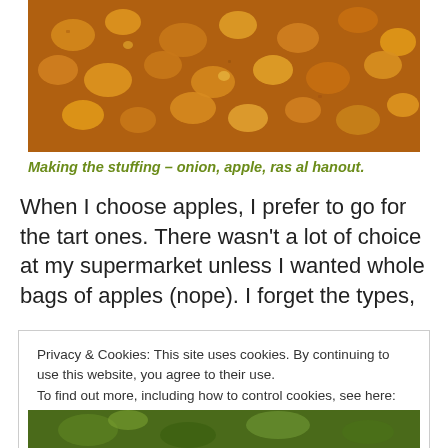[Figure (photo): Close-up photo of diced apples, onion, and spices (ras al hanout) being cooked in a dark skillet, showing golden-brown sautéed pieces.]
Making the stuffing – onion, apple, ras al hanout.
When I choose apples, I prefer to go for the tart ones. There wasn't a lot of choice at my supermarket unless I wanted whole bags of apples (nope).  I forget the types,
Privacy & Cookies: This site uses cookies. By continuing to use this website, you agree to their use.
To find out more, including how to control cookies, see here: Cookie Policy
[Figure (photo): Partial view of another cooking photo at the bottom of the page, showing green vegetables and food in a pan.]